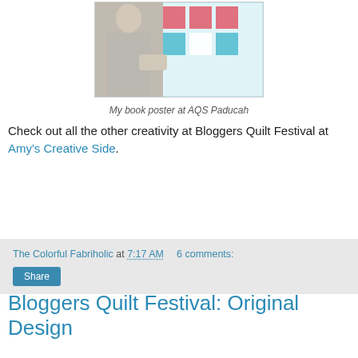[Figure (photo): Photo of a person holding a quilt book poster at AQS Paducah event, with a quilt in red and teal/white geometric pattern visible in the background]
My book poster at AQS Paducah
Check out all the other creativity at Bloggers Quilt Festival at Amy's Creative Side.
The Colorful Fabriholic at 7:17 AM   6 comments:
Bloggers Quilt Festival: Original Design